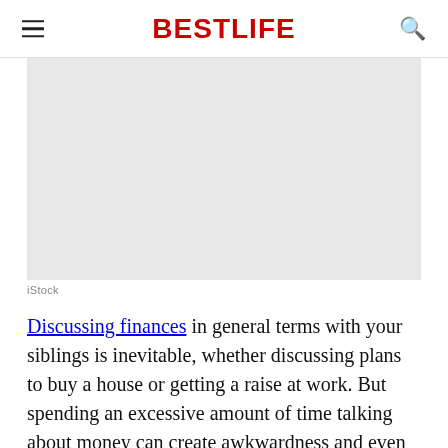BestLife
[Figure (photo): Placeholder image area with light gray background]
iStock
Discussing finances in general terms with your siblings is inevitable, whether discussing plans to buy a house or getting a raise at work. But spending an excessive amount of time talking about money can create awkwardness and even resentment, particularly if there